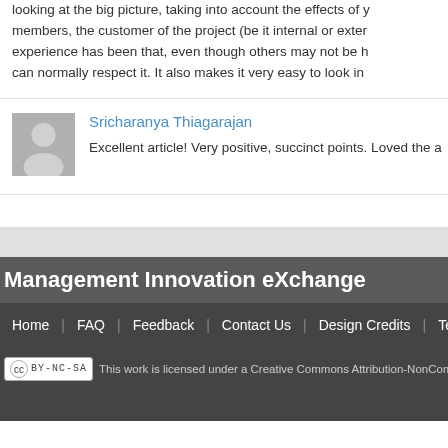looking at the big picture, taking into account the effects of your decisions on all team members, the customer of the project (be it internal or external). My experience has been that, even though others may not be happy with a decision, they can normally respect it. It also makes it very easy to look in
Sricharanya Thiagarajan
Excellent article! Very positive, succinct points. Loved the a
Management Innovation eXchange
Home | FAQ | Feedback | Contact Us | Design Credits | Terms o
This work is licensed under a Creative Commons Attribution-NonComme